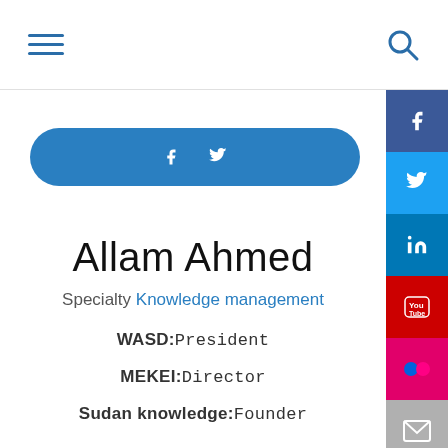Navigation bar with hamburger menu and search icon
[Figure (infographic): Social media share button (blue pill-shaped) with Facebook and Twitter icons]
Allam Ahmed
Specialty Knowledge management
WASD:President
MEKEI:Director
Sudan knowledge:Founder
[Figure (infographic): Vertical social media sidebar with Facebook, Twitter, LinkedIn, YouTube, Flickr, and Email icons]